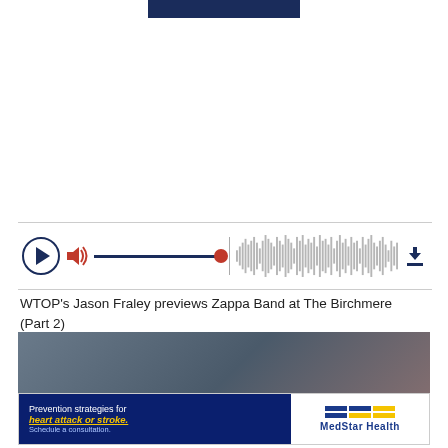[Figure (screenshot): Dark blue banner at top of page]
[Figure (screenshot): Audio player with play button, volume control with red knob, waveform visualization, and download icon]
WTOP's Jason Fraley previews Zappa Band at The Birchmere (Part 2)
Hear our full conversation on my podcast "Beyond the Fame."
[Figure (screenshot): WTOP News card showing Top Articles section with blurred background image of tennis racket]
[Figure (screenshot): MedStar Health advertisement: Prevention strategies for heart attack or stroke. Schedule a consultation.]